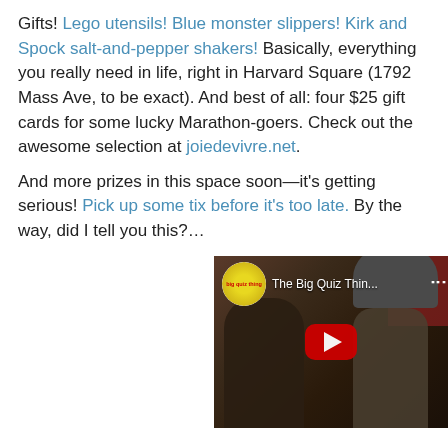Gifts! Lego utensils! Blue monster slippers! Kirk and Spock salt-and-pepper shakers! Basically, everything you really need in life, right in Harvard Square (1792 Mass Ave, to be exact). And best of all: four $25 gift cards for some lucky Marathon-goers. Check out the awesome selection at joiedevivre.net.
And more prizes in this space soon—it's getting serious! Pick up some tix before it's too late. By the way, did I tell you this?…
[Figure (screenshot): YouTube video thumbnail showing 'The Big Quiz Thin...' with people sitting indoors, a YouTube play button overlay, and the Big Quiz Thing logo circle in the top left corner.]